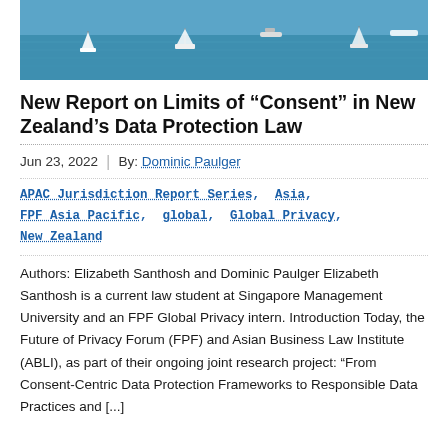[Figure (photo): Ocean scene with sailboats and motorboats on blue water]
New Report on Limits of “Consent” in New Zealand’s Data Protection Law
Jun 23, 2022  |  By: Dominic Paulger
APAC Jurisdiction Report Series, Asia, FPF Asia Pacific, global, Global Privacy, New Zealand
Authors: Elizabeth Santhosh and Dominic Paulger Elizabeth Santhosh is a current law student at Singapore Management University and an FPF Global Privacy intern. Introduction Today, the Future of Privacy Forum (FPF) and Asian Business Law Institute (ABLI), as part of their ongoing joint research project: “From Consent-Centric Data Protection Frameworks to Responsible Data Practices and [...]